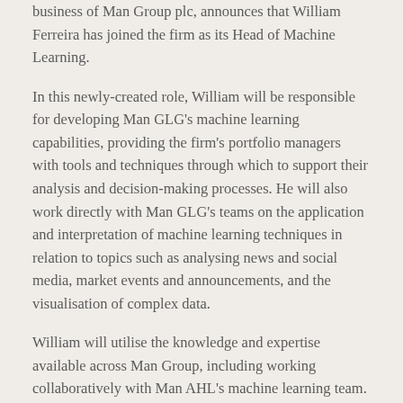business of Man Group plc, announces that William Ferreira has joined the firm as its Head of Machine Learning.
In this newly-created role, William will be responsible for developing Man GLG's machine learning capabilities, providing the firm's portfolio managers with tools and techniques through which to support their analysis and decision-making processes. He will also work directly with Man GLG's teams on the application and interpretation of machine learning techniques in relation to topics such as analysing news and social media, market events and announcements, and the visualisation of complex data.
William will utilise the knowledge and expertise available across Man Group, including working collaboratively with Man AHL's machine learning team. Man AHL has been actively researching machine learning techniques and applying them within its client trading programmes for several years. Man Group also